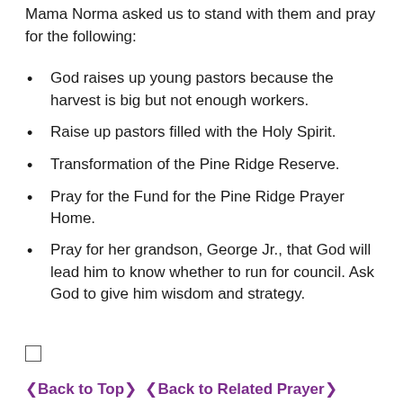Mama Norma asked us to stand with them and pray for the following:
God raises up young pastors because the harvest is big but not enough workers.
Raise up pastors filled with the Holy Spirit.
Transformation of the Pine Ridge Reserve.
Pray for the Fund for the Pine Ridge Prayer Home.
Pray for her grandson, George Jr., that God will lead him to know whether to run for council. Ask God to give him wisdom and strategy.
□
❮Back to Top❯  ❮Back to Related Prayer❯